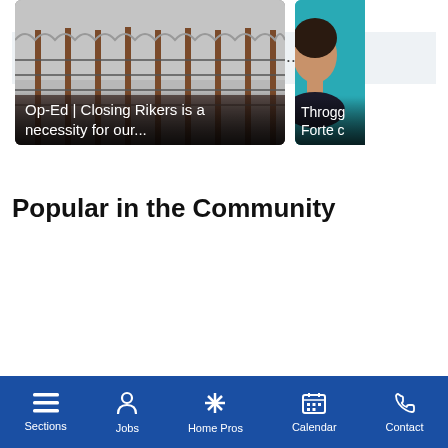Cooking Class
VIEW ALL EVENTS...
Popular in the Community
[Figure (photo): Photo of a prison fence with razor wire in foggy/grey conditions. Article card with caption 'Op-Ed | Closing Rikers is a necessity for our...']
[Figure (photo): Partial photo of a woman's face against a teal/cyan background. Article card with caption 'Throgg... Forte c...']
Sections  Jobs  Home Pros  Calendar  Contact